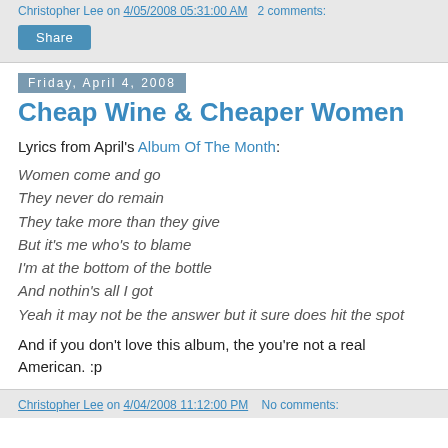Christopher Lee on 4/05/2008 05:31:00 AM   2 comments:
Share
Friday, April 4, 2008
Cheap Wine & Cheaper Women
Lyrics from April's Album Of The Month:
Women come and go
They never do remain
They take more than they give
But it's me who's to blame
I'm at the bottom of the bottle
And nothin's all I got
Yeah it may not be the answer but it sure does hit the spot
And if you don't love this album, the you're not a real American. :p
Christopher Lee on 4/04/2008 11:12:00 PM   No comments: